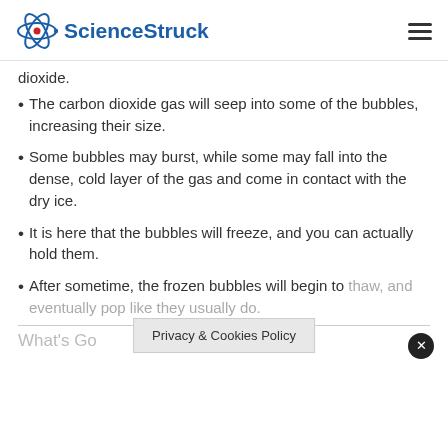ScienceStruck
dioxide.
The carbon dioxide gas will seep into some of the bubbles, increasing their size.
Some bubbles may burst, while some may fall into the dense, cold layer of the gas and come in contact with the dry ice.
It is here that the bubbles will freeze, and you can actually hold them.
After sometime, the frozen bubbles will begin to thaw, and eventually pop like they usually do.
What's Go
Privacy & Cookies Policy